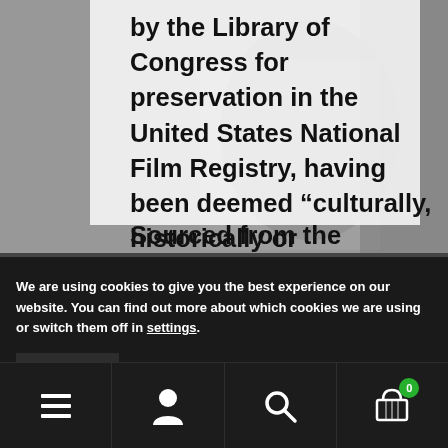by the Library of Congress for preservation in the United States National Film Registry, having been deemed “culturally, historically or aesthetically significant”.
[Figure (photo): Black and white photograph of a person, partially visible, behind overlaid white text card]
Sourced from the original master
We are using cookies to give you the best experience on our website. You can find out more about which cookies we are using or switch them off in settings.
Accept
Navigation bar with menu, account, search, and cart icons